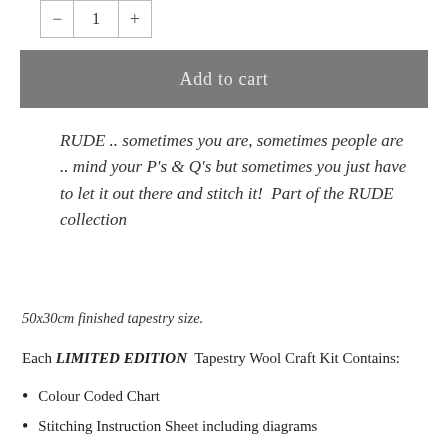[Figure (other): Quantity selector with minus button, number 1, and plus button inside a bordered box]
Add to cart
RUDE .. sometimes you are, sometimes people are .. mind your P's & Q's but sometimes you just have to let it out there and stitch it!  Part of the RUDE collection
50x30cm finished tapestry size.
Each LIMITED EDITION  Tapestry Wool Craft Kit Contains:
Colour Coded Chart
Stitching Instruction Sheet including diagrams